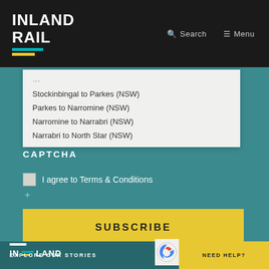INLAND RAIL | Search | Menu
Stockinbingal to Parkes (NSW)
Parkes to Narromine (NSW)
Narromine to Narrabri (NSW)
Narrabri to North Star (NSW)
CAPTCHA
I agree to Terms & Conditions
SUBSCRIBE
EXPLORE OUR STORIES | NEED HELP?